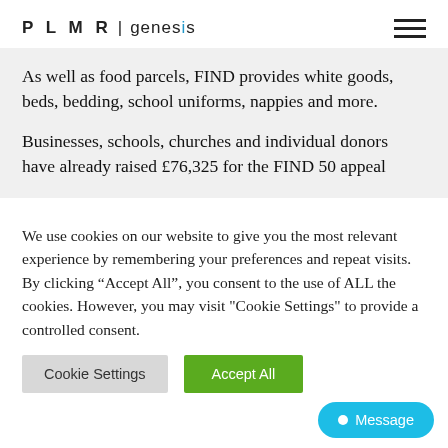PLMR | genesis
As well as food parcels, FIND provides white goods, beds, bedding, school uniforms, nappies and more.
Businesses, schools, churches and individual donors have already raised £76,325 for the FIND 50 appeal
We use cookies on our website to give you the most relevant experience by remembering your preferences and repeat visits. By clicking “Accept All”, you consent to the use of ALL the cookies. However, you may visit "Cookie Settings" to provide a controlled consent.